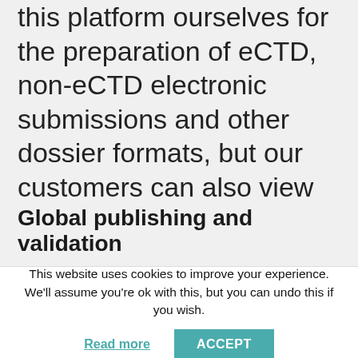this platform ourselves for the preparation of eCTD, non-eCTD electronic submissions and other dossier formats, but our customers can also view and/or review these through Dossplorer™.
Global publishing and validation
This website uses cookies to improve your experience. We'll assume you're ok with this, but you can undo this if you wish.